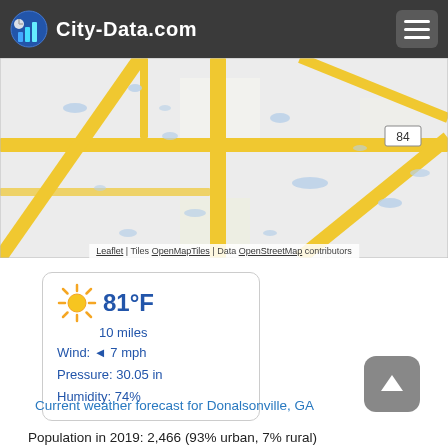City-Data.com
[Figure (map): Street map of Donalsonville area showing road network with yellow roads on light gray background, route 84 marker visible. Map attribution: Leaflet | Tiles OpenMapTiles | Data OpenStreetMap contributors]
[Figure (infographic): Weather widget showing sunny icon, 81°F temperature, 10 miles visibility, Wind: 7 mph (west), Pressure: 30.05 in, Humidity: 74%]
Current weather forecast for Donalsonville, GA
Population in 2019: 2,466 (93% urban, 7% rural)